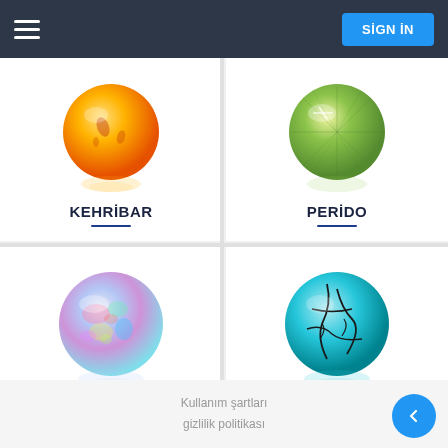SIGN IN
[Figure (illustration): Amber gemstone – round orange/golden translucent gem with inclusions, with reflection below]
KEHRİBAR
[Figure (illustration): Peridot gemstone – round faceted olive-green gem with reflection below]
PERİDO
[Figure (illustration): Opal gemstone – round iridescent gem with multicolor play-of-color, with reflection below]
OPAL
[Figure (illustration): Turquoise gemstone – round turquoise blue cabochon with dark veining matrix, with reflection below]
TURKUAZ
Kullanım şartları
gizlilik politikası